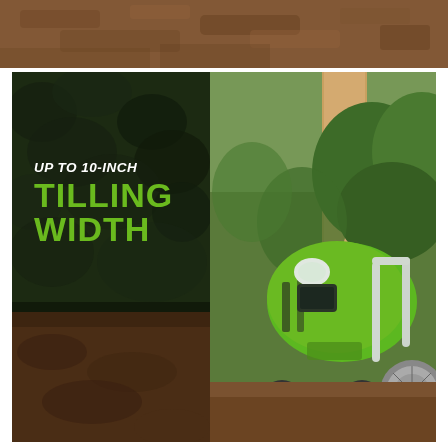[Figure (photo): Top strip showing tilled soil/dirt, brown earthy texture]
[Figure (photo): Main image split in two: left dark panel with hedges/dark ground showing text overlay 'UP TO 10-INCH TILLING WIDTH' in white and green; right panel shows a green Greenworks battery-powered garden tiller/cultivator being used near bushes and a tree, with tilling tines visible at bottom and a small wheel on the right side]
UP TO 10-INCH TILLING WIDTH